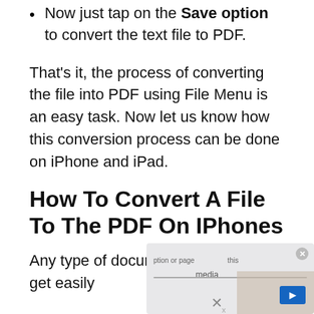Now just tap on the Save option to convert the text file to PDF.
That's it, the process of converting the file into PDF using File Menu is an easy task. Now let us know how this conversion process can be done on iPhone and iPad.
How To Convert A File To The PDF On IPhones
Any type of document or page can get easily [obscured by overlay]
[Figure (screenshot): A popup/overlay advertisement or media widget partially obscuring the page content, showing text snippets, a close button, a blue button, and an X dismiss button.]